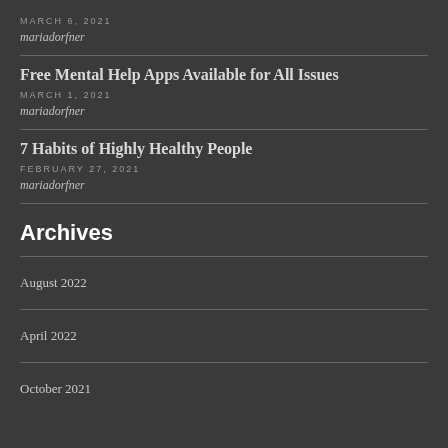MARCH 6, 2021
mariadorfner
Free Mental Help Apps Available for All Issues
MARCH 1, 2021
mariadorfner
7 Habits of Highly Healthy People
FEBRUARY 27, 2021
mariadorfner
Archives
August 2022
April 2022
October 2021